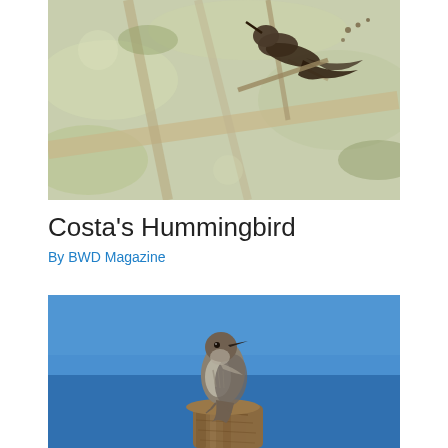[Figure (photo): Close-up photograph of a hummingbird (or small bird) perched on a branch with blurred greenish foliage and branches in the background. Another bird is partially visible at the top right.]
Costa's Hummingbird
By BWD Magazine
[Figure (photo): Photograph of a small brown and white bird (flycatcher type) perched on a rough wooden stump against a clear bright blue sky background.]